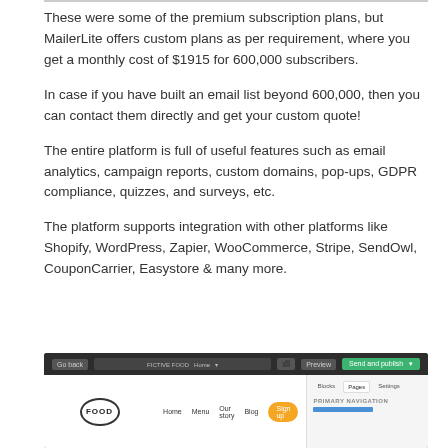These were some of the premium subscription plans, but MailerLite offers custom plans as per requirement, where you get a monthly cost of $1915 for 600,000 subscribers.
In case if you have built an email list beyond 600,000, then you can contact them directly and get your custom quote!
The entire platform is full of useful features such as email analytics, campaign reports, custom domains, pop-ups, GDPR compliance, quizzes, and surveys, etc.
The platform supports integration with other platforms like Shopify, WordPress, Zapier, WooCommerce, Stripe, SendOwl, CouponCarrier, Easystore & many more.
[Figure (screenshot): Screenshot of MailerLite email editor interface showing a dark top navigation bar with 'Go back' button, URL bar, 'Preview' and 'Send and publish' buttons. Below is a white page with a 'FOOD' logo on the left, navigation menu items (Home, Menu, Our story, Blog), a yellow 'Sign up' button, and a right panel showing Blocks, Pages, Settings tabs with a Primary Navigation section.]